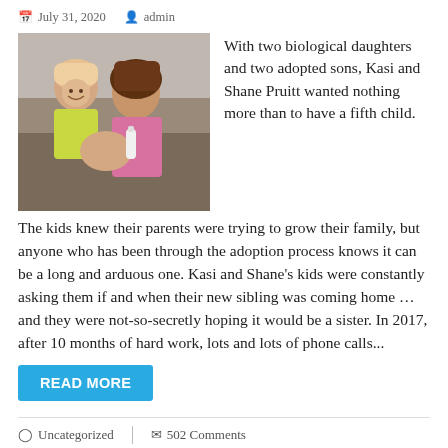July 31, 2020   admin
[Figure (photo): Two girls, one younger in a yellow shirt and one older with brown hair, appearing to feed or hold a baby with a bottle, inside a home setting.]
With two biological daughters and two adopted sons, Kasi and Shane Pruitt wanted nothing more than to have a fifth child. The kids knew their parents were trying to grow their family, but anyone who has been through the adoption process knows it can be a long and arduous one. Kasi and Shane's kids were constantly asking them if and when their new sibling was coming home … and they were not-so-secretly hoping it would be a sister. In 2017, after 10 months of hard work, lots and lots of phone calls...
READ MORE
Uncategorized   502 Comments